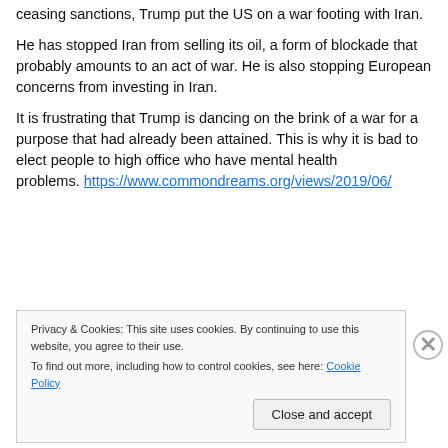ceasing sanctions, Trump put the US on a war footing with Iran.
He has stopped Iran from selling its oil, a form of blockade that probably amounts to an act of war. He is also stopping European concerns from investing in Iran.
It is frustrating that Trump is dancing on the brink of a war for a purpose that had already been attained. This is why it is bad to elect people to high office who have mental health problems. https://www.commondreams.org/views/2019/06/
Privacy & Cookies: This site uses cookies. By continuing to use this website, you agree to their use.
To find out more, including how to control cookies, see here: Cookie Policy
Close and accept